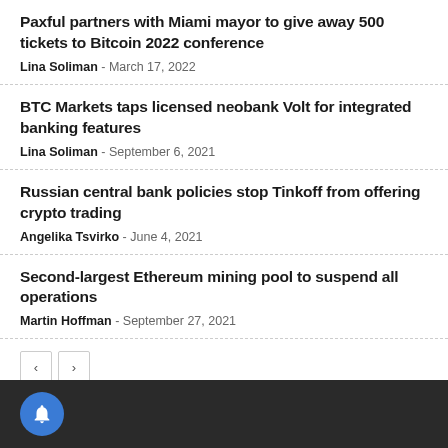Paxful partners with Miami mayor to give away 500 tickets to Bitcoin 2022 conference
Lina Soliman - March 17, 2022
BTC Markets taps licensed neobank Volt for integrated banking features
Lina Soliman - September 6, 2021
Russian central bank policies stop Tinkoff from offering crypto trading
Angelika Tsvirko - June 4, 2021
Second-largest Ethereum mining pool to suspend all operations
Martin Hoffman - September 27, 2021